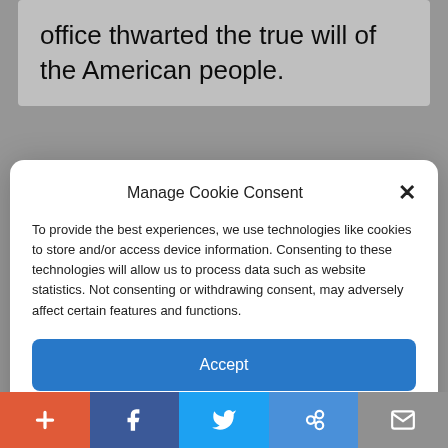office thwarted the true will of the American people.
Manage Cookie Consent
To provide the best experiences, we use technologies like cookies to store and/or access device information. Consenting to these technologies will allow us to process data such as website statistics. Not consenting or withdrawing consent, may adversely affect certain features and functions.
Accept
Cookie Policy  Privacy Policy
[Figure (photo): Person's face photo, circular crop]
+ f (Twitter bird icon) (link icon) (mail icon)